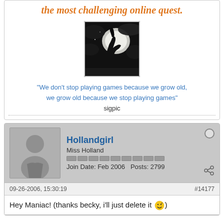the most challenging online quest.
[Figure (illustration): Black and white illustration of a wolf howling at the moon against a dark cloudy sky background.]
"We don't stop playing games because we grow old, we grow old because we stop playing games"
sigpic
Hollandgirl
Miss Holland
Join Date: Feb 2006  Posts: 2799
09-26-2006, 15:30:19
#14177
Hey Maniac! (thanks becky, i'll just delete it 😊)